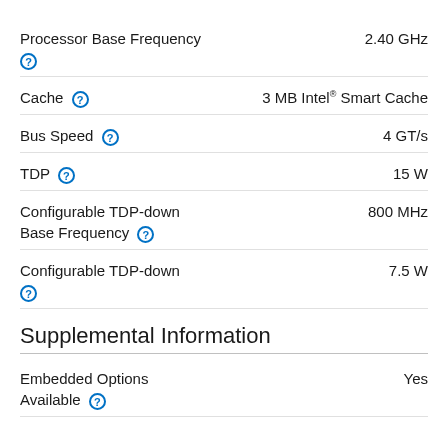| Specification | Value |
| --- | --- |
| Processor Base Frequency (?) | 2.40 GHz |
| Cache (?) | 3 MB Intel® Smart Cache |
| Bus Speed (?) | 4 GT/s |
| TDP (?) | 15 W |
| Configurable TDP-down Base Frequency (?) | 800 MHz |
| Configurable TDP-down (?) | 7.5 W |
Supplemental Information
| Specification | Value |
| --- | --- |
| Embedded Options Available (?) | Yes |